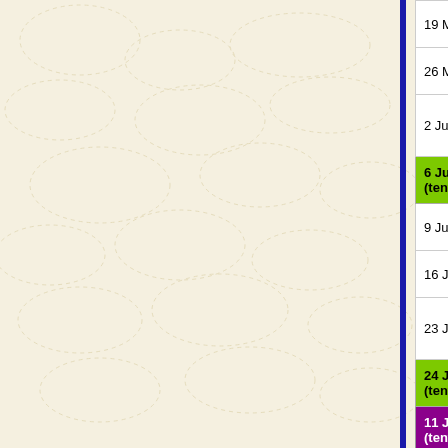| Date | Day | Event | Organisation |
| --- | --- | --- | --- |
| 19 May | Sunday | ICQ Annual Qur'an Competition | Isla of I |
| 26 May | Sunday | CresWalk 2013 10th ANNIVERSARY |  |
| 2 June | Sunday | QLD Nasheed Competition | Co Qu (Ch |
| 6 June (tentative) | Thursday |  |  |
| 9 June | Sunday | Islamic College of Brisbane (ICB) Annual Fete | ICB |
| 16 June | Sunday | Inter-Madrassah Soccer Tournament | Isla of I |
| 23 June | Sunday | The Pillars of Mercy: The Fiqh of Zakat & Ramadan | Al I Ins Bri |
| 24 June (tentative) | Monday |  |  |
| 11 July (tentative) | Thursday |  |  |
| 5 August (tentative) | Monday |  |  |
| 8 August (tentative) | Thursday |  |  |